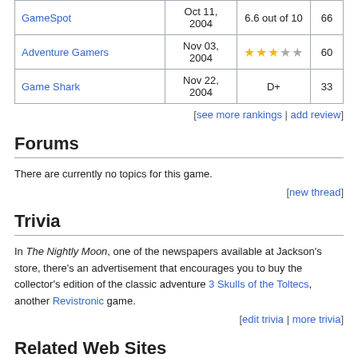| Publication | Date | Score | Numeric |
| --- | --- | --- | --- |
| GameSpot | Oct 11, 2004 | 6.6 out of 10 | 66 |
| Adventure Gamers | Nov 03, 2004 | ★★★☆☆ | 60 |
| Game Shark | Nov 22, 2004 | D+ | 33 |
[see more rankings | add review]
Forums
There are currently no topics for this game.
[new thread]
Trivia
In The Nightly Moon, one of the newspapers available at Jackson's store, there's an advertisement that encourages you to buy the collector's edition of the classic adventure 3 Skulls of the Toltecs, another Revistronic game.
[edit trivia | more trivia]
Related Web Sites
Wanted: A Wild Western Adventure (official website)